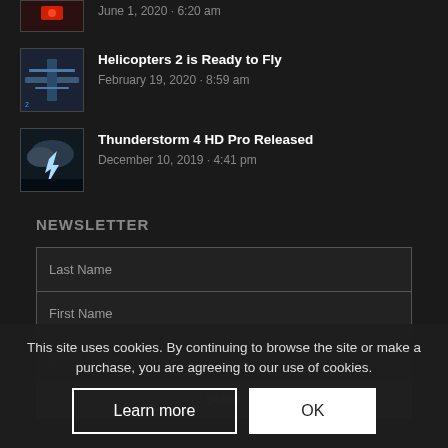June 1, 2020 · 6:20 am
Helicopters 2 is Ready to Fly
February 19, 2020 · 8:59 am
Thunderstorm 4 HD Pro Released
December 10, 2019 · 4:41 pm
NEWSLETTER
Last Name
First Name
Email Address
Subsc
This site uses cookies. By continuing to browse the site or make a purchase, you are agreeing to our use of cookies.
Learn more
OK